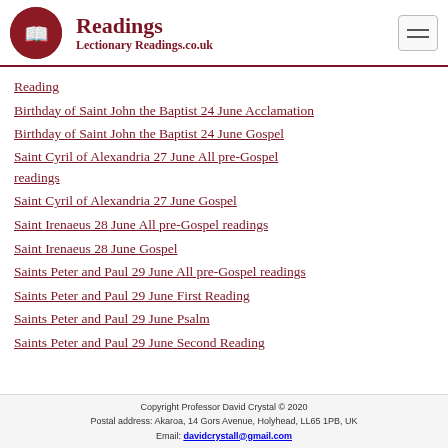Readings — LectionaryReadings.co.uk
Reading
Birthday of Saint John the Baptist 24 June Acclamation
Birthday of Saint John the Baptist 24 June Gospel
Saint Cyril of Alexandria 27 June All pre-Gospel readings
Saint Cyril of Alexandria 27 June Gospel
Saint Irenaeus 28 June All pre-Gospel readings
Saint Irenaeus 28 June Gospel
Saints Peter and Paul 29 June All pre-Gospel readings
Saints Peter and Paul 29 June First Reading
Saints Peter and Paul 29 June Psalm
Saints Peter and Paul 29 June Second Reading
Copyright Professor David Crystal © 2020
Postal address: Akaroa, 14 Gors Avenue, Holyhead, LL65 1PB, UK
Email: davidcrystall@gmail.com